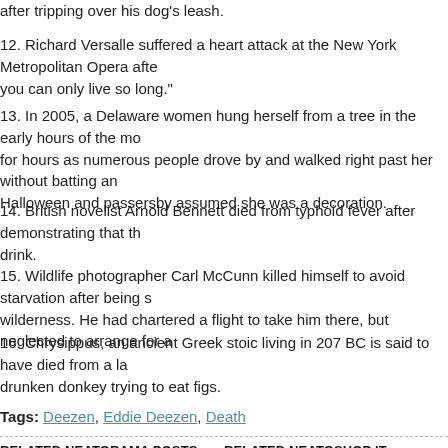after tripping over his dog's leash.
12. Richard Versalle suffered a heart attack at the New York Metropolitan Opera afte you can only live so long."
13. In 2005, a Delaware women hung herself from a tree in the early hours of the mo for hours as numerous people drove by and walked right past her without batting an Halloween and passersby assumed she was a decoration.
14. British novelist Arnold Bennett died from typhoid fever after demonstrating that th drink.
15. Wildlife photographer Carl McCunn killed himself to avoid starvation after being s wilderness. He had chartered a flight to take him there, but neglected to arrange for a
16. Chrysippus, an ancient Greek stoic living in 207 BC is said to have died from a la drunken donkey trying to eat figs.
Tags: Deezen, Eddie Deezen, Death
RELATED NEATORAMA POSTS    RELATED NEATOSHOP IT